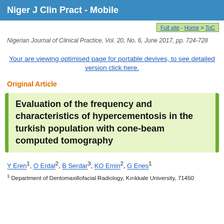Niger J Clin Pract - Mobile
Full site - Home > ToC
Nigerian Journal of Clinical Practice, Vol. 20, No. 6, June 2017, pp. 724-728
Your are viewing optimised page for portable devives, to see detailed version click here.
Original Article
Evaluation of the frequency and characteristics of hypercementosis in the turkish population with cone-beam computed tomography
Y Eren1, O Erdal2, B Serdar3, KO Emin2, G Enes1
1 Department of Dentomaxillofacial Radiology, Kırıkkale University, 71450